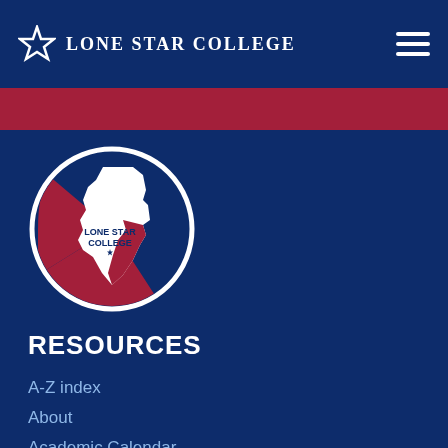[Figure (logo): Lone Star College top navigation bar logo: white star icon and 'LONE STAR COLLEGE' text in white on dark navy blue background, with hamburger menu icon on the right]
[Figure (logo): Lone Star College circular logo: Texas state outline in white and red, with 'Lone Star College' text and shooting star graphic, on dark navy background]
RESOURCES
A-Z index
About
Academic Calendar